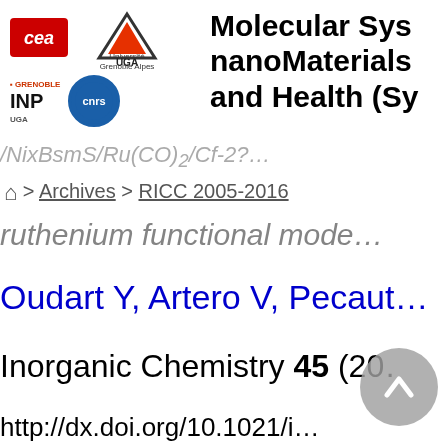[Figure (logo): Institutional logos: CEA (red box), UGA (Université Grenoble Alpes triangle), Grenoble INP UGA, CNRS (blue circle)]
Molecular Sys… nanoMaterials… and Health (Sy…
…/NixBsmS/Ru(CO)2/Cf-2?…
🏠 > Archives > RICC 2005-2016
ruthenium functional mode…
Oudart Y, Artero V, Pecaut…
Inorganic Chemistry 45 (20…
http://dx.doi.org/10.1021/i…